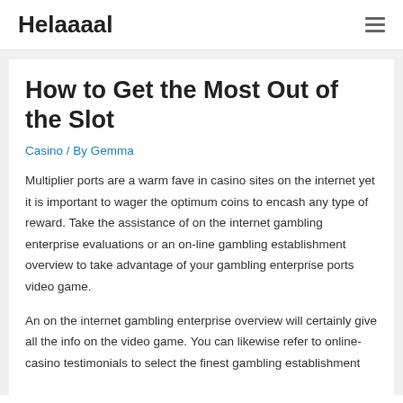Helaaaal
How to Get the Most Out of the Slot
Casino / By Gemma
Multiplier ports are a warm fave in casino sites on the internet yet it is important to wager the optimum coins to encash any type of reward. Take the assistance of on the internet gambling enterprise evaluations or an on-line gambling establishment overview to take advantage of your gambling enterprise ports video game.
An on the internet gambling enterprise overview will certainly give all the info on the video game. You can likewise refer to online-casino testimonials to select the finest gambling establishment